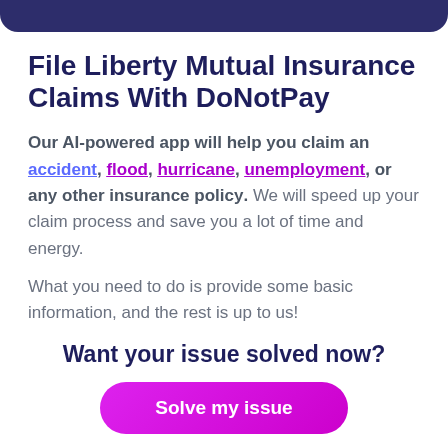File Liberty Mutual Insurance Claims With DoNotPay
Our AI-powered app will help you claim an accident, flood, hurricane, unemployment, or any other insurance policy. We will speed up your claim process and save you a lot of time and energy.
What you need to do is provide some basic information, and the rest is up to us!
Want your issue solved now?
Solve my issue